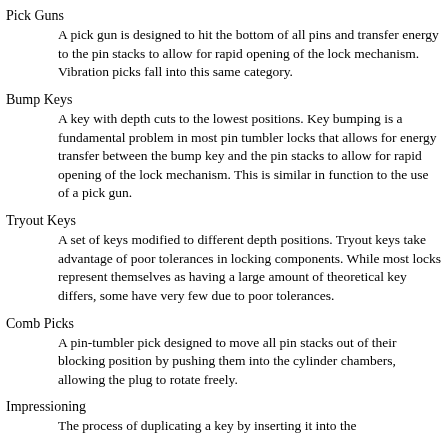Pick Guns
A pick gun is designed to hit the bottom of all pins and transfer energy to the pin stacks to allow for rapid opening of the lock mechanism. Vibration picks fall into this same category.
Bump Keys
A key with depth cuts to the lowest positions. Key bumping is a fundamental problem in most pin tumbler locks that allows for energy transfer between the bump key and the pin stacks to allow for rapid opening of the lock mechanism. This is similar in function to the use of a pick gun.
Tryout Keys
A set of keys modified to different depth positions. Tryout keys take advantage of poor tolerances in locking components. While most locks represent themselves as having a large amount of theoretical key differs, some have very few due to poor tolerances.
Comb Picks
A pin-tumbler pick designed to move all pin stacks out of their blocking position by pushing them into the cylinder chambers, allowing the plug to rotate freely.
Impressioning
The process of duplicating a key by inserting it into the ...